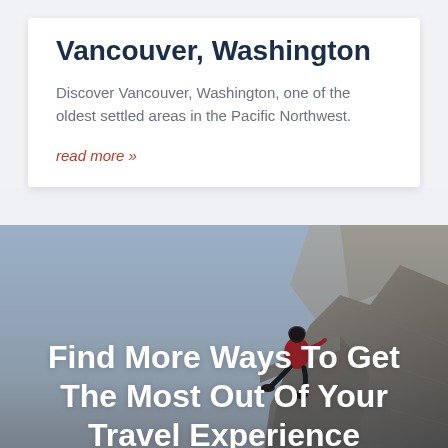Vancouver, Washington
Discover Vancouver, Washington, one of the oldest settled areas in the Pacific Northwest.
read more »
[Figure (photo): Person in red jacket sitting on a rocky cliff edge with blue sky background, overlaid with text 'Find More Ways To Get The Most Out Of Your Travel Experience' and a red button at the bottom.]
Find More Ways To Get The Most Out Of Your Travel Experience